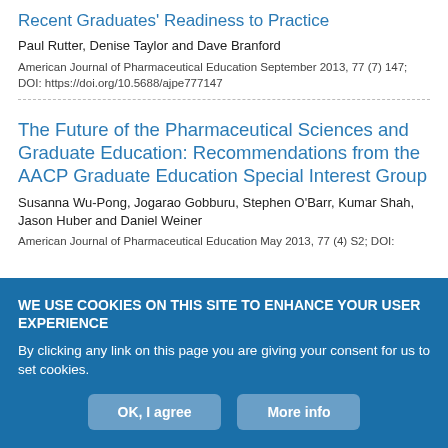Recent Graduates' Readiness to Practice
Paul Rutter, Denise Taylor and Dave Branford
American Journal of Pharmaceutical Education September 2013, 77 (7) 147; DOI: https://doi.org/10.5688/ajpe777147
The Future of the Pharmaceutical Sciences and Graduate Education: Recommendations from the AACP Graduate Education Special Interest Group
Susanna Wu-Pong, Jogarao Gobburu, Stephen O'Barr, Kumar Shah, Jason Huber and Daniel Weiner
American Journal of Pharmaceutical Education May 2013, 77 (4) S2; DOI:
WE USE COOKIES ON THIS SITE TO ENHANCE YOUR USER EXPERIENCE

By clicking any link on this page you are giving your consent for us to set cookies.